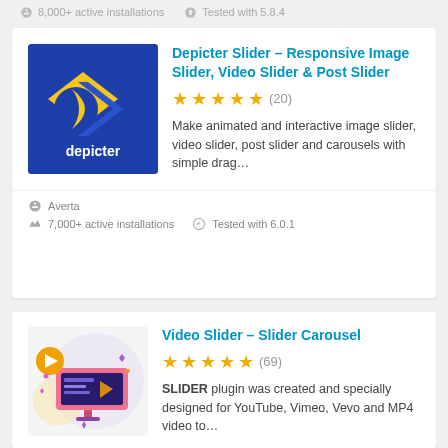8,000+ active installations  Tested with 5.8.4
Depicter Slider – Responsive Image Slider, Video Slider & Post Slider
★★★★★ (20)
Make animated and interactive image slider, video slider, post slider and carousels with simple drag...
Averta
7,000+ active installations  Tested with 6.0.1
Video Slider – Slider Carousel
★★★★½ (69)
SLIDER plugin was created and specially designed for YouTube, Vimeo, Vevo and MP4 video to...